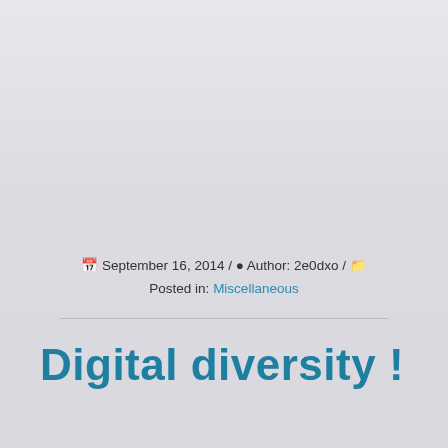📅 September 16, 2014 / 👤 Author: 2e0dxo / 📁 Posted in: Miscellaneous
Digital diversity !